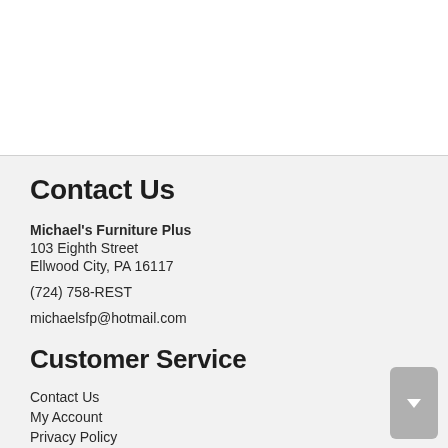Contact Us
Michael's Furniture Plus
103 Eighth Street
Ellwood City, PA 16117
(724) 758-REST
michaelsfp@hotmail.com
Customer Service
Contact Us
My Account
Privacy Policy
Terms of Service